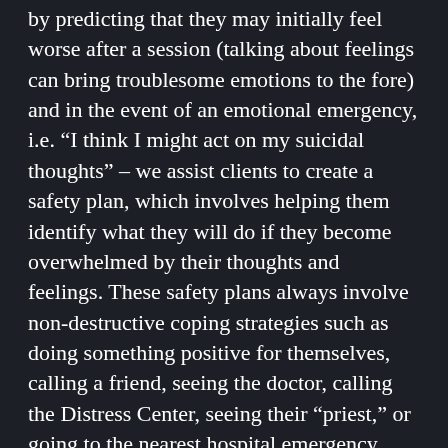by predicting that they may initially feel worse after a session (talking about feelings can bring troublesome emotions to the fore) and in the event of an emotional emergency, i.e. “I think I might act on my suicidal thoughts” – we assist clients to create a safety plan, which involves helping them identify what they will do if they become overwhelmed by their thoughts and feelings. These safety plans always involve non-destructive coping strategies such as doing something positive for themselves, calling a friend, seeing the doctor, calling the Distress Center, seeing their “priest,” or going to the nearest hospital emergency department.
Conclusion
Some text beginning a new section...